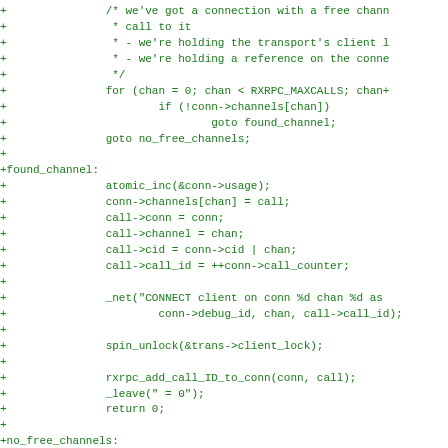Diff code block showing added lines of C kernel code for RxRPC connection channel handling